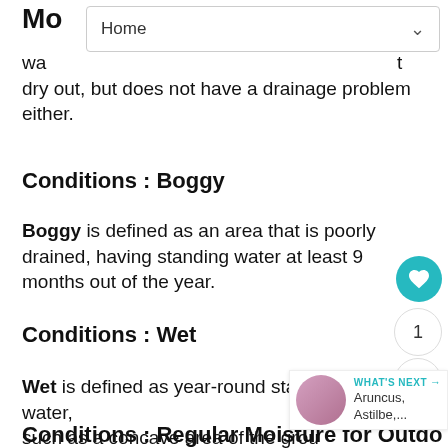Home
watering to a depth of 18 inch deep, does not dry out, but does not have a drainage problem either.
Conditions : Boggy
Boggy is defined as an area that is poorly drained, having standing water at least 9 months out of the year.
Conditions : Wet
Wet is defined as year-round standing water, such as a concave area of the grou...
Conditions : Regular Moisture for Outdoor